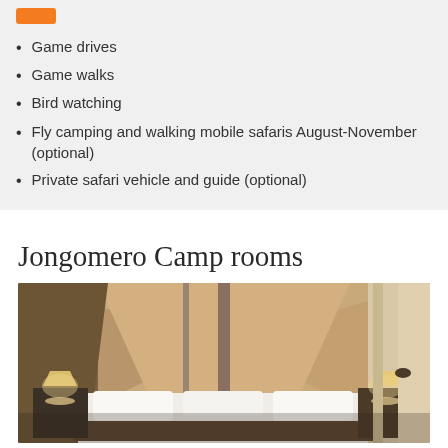Game drives
Game walks
Bird watching
Fly camping and walking mobile safaris August-November (optional)
Private safari vehicle and guide (optional)
Jongomero Camp rooms
[Figure (photo): Interior of a luxury safari tent at Jongomero Camp showing canvas ceiling, bed with white linens, bedside lamps, and curtains]